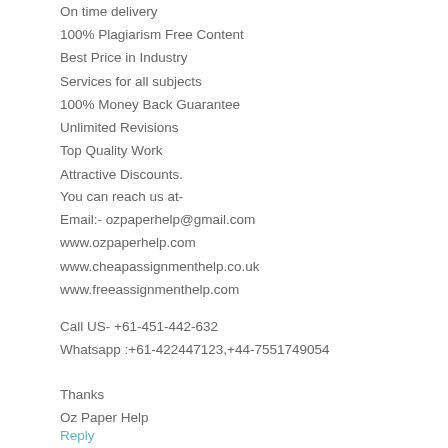On time delivery
100% Plagiarism Free Content
Best Price in Industry
Services for all subjects
100% Money Back Guarantee
Unlimited Revisions
Top Quality Work
Attractive Discounts.
You can reach us at-
Email:- ozpaperhelp@gmail.com
www.ozpaperhelp.com
www.cheapassignmenthelp.co.uk
www.freeassignmenthelp.com
Call US- +61-451-442-632
Whatsapp :+61-422447123,+44-7551749054
Thanks
Oz Paper Help
Reply